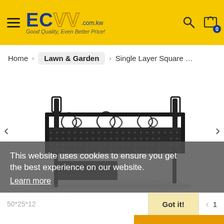ECVV .com.kw Good Quality, Even Better Price!
Home > Lawn & Garden > Single Layer Square Balcon
[Figure (photo): Single layer square balcony metal rack/shelf with ornate scrollwork design on railing, black iron construction, shown in 3D product view on white background. Cookie consent banner overlay reads: This website uses cookies to ensure you get the best experience on our website. Learn more]
50*25*12
Got it!
1
$93.00 USD
ADD TO CART